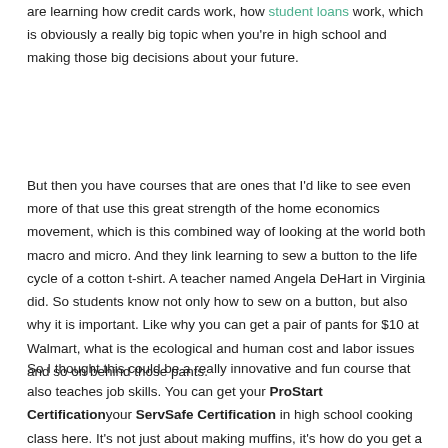are learning how credit cards work, how student loans work, which is obviously a really big topic when you're in high school and making those big decisions about your future.
But then you have courses that are ones that I'd like to see even more of that use this great strength of the home economics movement, which is this combined way of looking at the world both macro and micro. And they link learning to sew a button to the life cycle of a cotton t-shirt. A teacher named Angela DeHart in Virginia did. So students know not only how to sew on a button, but also why it is important. Like why you can get a pair of pants for $10 at Walmart, what is the ecological and human cost and labor issues and so on behind those pants.
So I thought this could be a really innovative and fun course that also teaches job skills. You can get your ProStart Certification your ServSafe Certification in high school cooking class here. It's not just about making muffins, it's how do you get a job in the restaurant business? So it's still part of the original vision of home appliances